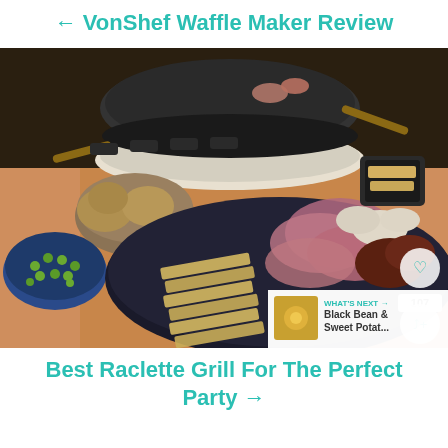← VonShef Waffle Maker Review
[Figure (photo): A raclette grill set on a table surrounded by plates of sliced cheese, cured meats, mushrooms, olives, and potatoes. The round electric raclette grill is visible in the background with small wooden-handled trays.]
Best Raclette Grill For The Perfect Party →